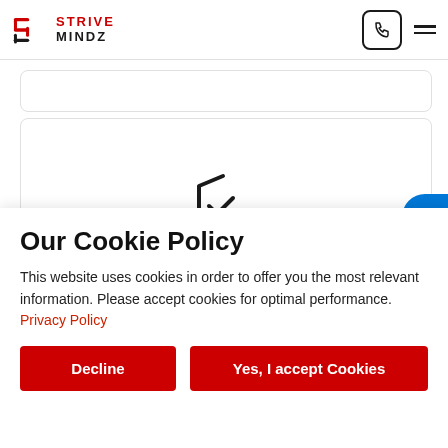Strive Mindz — navigation header with logo, phone icon, hamburger menu
[Figure (illustration): Shield with checkmark and gear icon — security/privacy settings illustration]
Our Cookie Policy
This website uses cookies in order to offer you the most relevant information. Please accept cookies for optimal performance. Privacy Policy
Decline
Yes, I accept Cookies